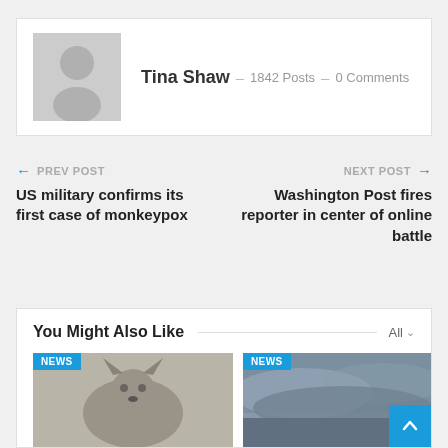[Figure (photo): Author avatar placeholder — gray silhouette of a person on gray background]
Tina Shaw – 1842 Posts – 0 Comments
← PREV POST
US military confirms its first case of monkeypox
NEXT POST →
Washington Post fires reporter in center of online battle
You Might Also Like
[Figure (photo): Thumbnail of a husky dog with NEWS badge]
[Figure (photo): Thumbnail of a cloudy sky with NEWS badge]